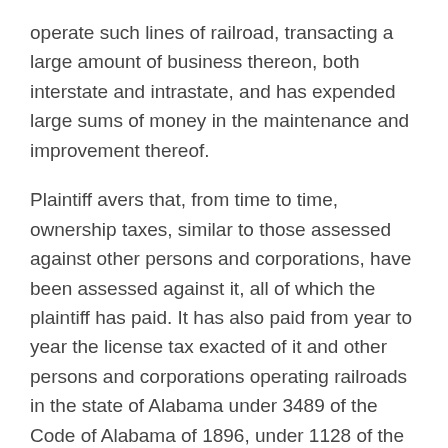operate such lines of railroad, transacting a large amount of business thereon, both interstate and intrastate, and has expended large sums of money in the maintenance and improvement thereof.
Plaintiff avers that, from time to time, ownership taxes, similar to those assessed against other persons and corporations, have been assessed against it, all of which the plaintiff has paid. It has also paid from year to year the license tax exacted of it and other persons and corporations operating railroads in the state of Alabama under 3489 of the Code of Alabama of 1896, under 1128 of the Code of Alabama of 1886. It has also paid on account of its ownership of such railroad, taxes assessed against it under the act of March 7, 1897, taxing the franchises or intangible property, in the state, of every person and corporation engaged in transporting persons or property over any railroad therein. It has also paid the license fee, and has